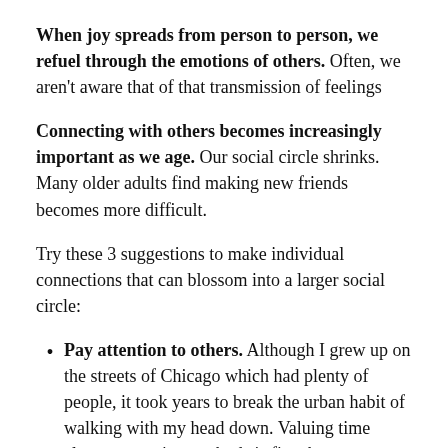When joy spreads from person to person, we refuel through the emotions of others. Often, we aren't aware that of that transmission of feelings
Connecting with others becomes increasingly important as we age. Our social circle shrinks. Many older adults find making new friends becomes more difficult.
Try these 3 suggestions to make individual connections that can blossom into a larger social circle:
Pay attention to others. Although I grew up on the streets of Chicago which had plenty of people, it took years to break the urban habit of walking with my head down. Valuing time alone or wearing ear buds is fine, but try smiling when you are face...